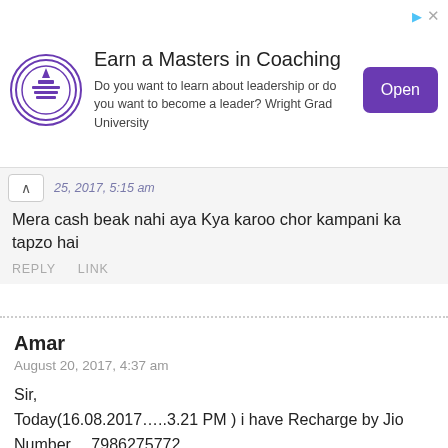[Figure (screenshot): Advertisement banner for Wright Grad University — Earn a Masters in Coaching. Features a circular purple university logo on the left, ad headline and body text in center, and a purple 'Open' button on the right.]
25, 2017, 5:15 am
Mera cash beak nahi aya Kya karoo chor kampani ka tapzo hai
REPLY   LINK
Amar
August 20, 2017, 4:37 am
Sir,
Today(16.08.2017…..3.21 PM ) i have Recharge by Jio Number …7986275772.
But Recharge is not successful ….Please sir refund me on free recharge
And but complete… my Recharge my recharge 299/- Jio